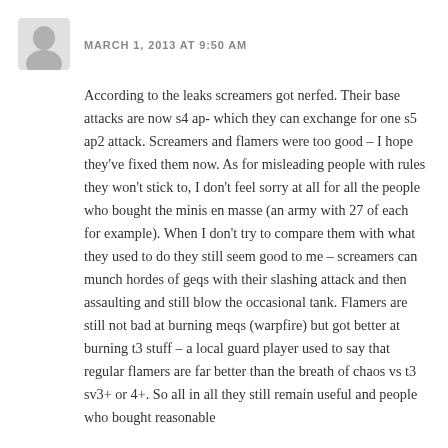MARCH 1, 2013 AT 9:50 AM
According to the leaks screamers got nerfed. Their base attacks are now s4 ap- which they can exchange for one s5 ap2 attack. Screamers and flamers were too good – I hope they've fixed them now. As for misleading people with rules they won't stick to, I don't feel sorry at all for all the people who bought the minis en masse (an army with 27 of each for example). When I don't try to compare them with what they used to do they still seem good to me – screamers can munch hordes of geqs with their slashing attack and then assaulting and still blow the occasional tank. Flamers are still not bad at burning meqs (warpfire) but got better at burning t3 stuff – a local guard player used to say that regular flamers are far better than the breath of chaos vs t3 sv3+ or 4+. So all in all they still remain useful and people who bought reasonable